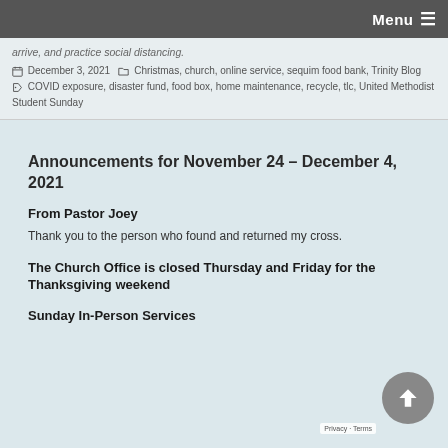Menu ≡
arrive, and practice social distancing.
December 3, 2021  Christmas, church, online service, sequim food bank, Trinity Blog  COVID exposure, disaster fund, food box, home maintenance, recycle, tlc, United Methodist Student Sunday
Announcements for November 24 – December 4, 2021
From Pastor Joey
Thank you to the person who found and returned my cross.
The Church Office is closed Thursday and Friday for the Thanksgiving weekend
Sunday In-Person Services